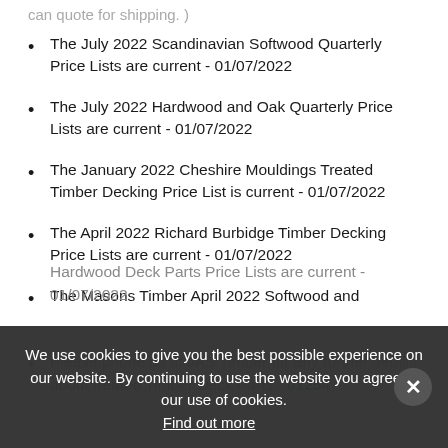can quote for shipping. )
The July 2022 Scandinavian Softwood Quarterly Price Lists are current - 01/07/2022
The July 2022 Hardwood and Oak Quarterly Price Lists are current - 01/07/2022
The January 2022 Cheshire Mouldings Treated Timber Decking Price List is current - 01/07/2022
The April 2022 Richard Burbidge Timber Decking Price Lists are current - 01/07/2022
The Masons Timber April 2022 Softwood and Hardwood Deck Parts Price Lists are current - 01/07/2022
Please phone us at JAS Timber for any further details about treated Timber Deck Parts - 01254
We use cookies to give you the best possible experience on our website. By continuing to use the website you agree to our use of cookies. Find out more